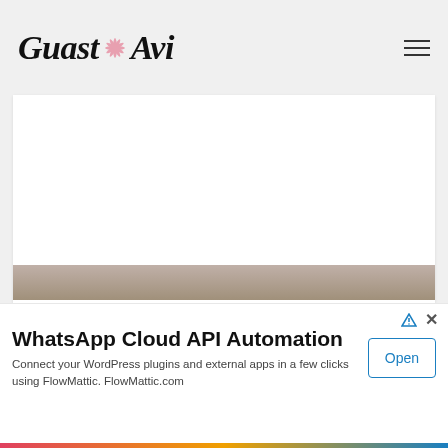Guast Avi
[Figure (screenshot): Website screenshot showing Guast Avi blog header with logo and hamburger menu, a white content area, mgid ad widget, and a bottom banner ad for WhatsApp Cloud API Automation by FlowMattic]
WhatsApp Cloud API Automation
Connect your WordPress plugins and external apps in a few clicks using FlowMattic. FlowMattic.com
Open